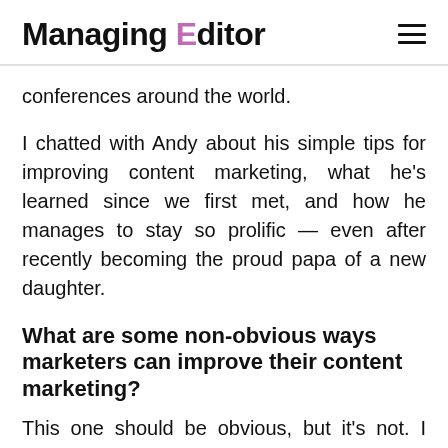Managing Editor
conferences around the world.
I chatted with Andy about his simple tips for improving content marketing, what he's learned since we first met, and how he manages to stay so prolific — even after recently becoming the proud papa of a new daughter.
What are some non-obvious ways marketers can improve their content marketing?
This one should be obvious, but it's not. I meet people all the time who miss this one basic step in search optimization. If you're wondering why you don't rank for a certain phrase, follow these two steps: